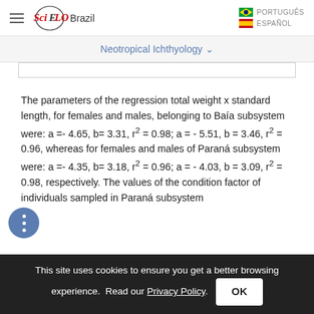SciELO Brazil — Neotropical Ichthyology
The parameters of the regression total weight x standard length, for females and males, belonging to Baía subsystem were: a =- 4.65, b= 3.31, r² = 0.98; a = - 5.51, b = 3.46, r² = 0.96, whereas for females and males of Paraná subsystem were: a =- 4.35, b= 3.18, r² = 0.96; a = - 4.03, b = 3.09, r² = 0.98, respectively. The values of the condition factor of individuals sampled in Paraná subsystem
This site uses cookies to ensure you get a better browsing experience. Read our Privacy Policy.  OK